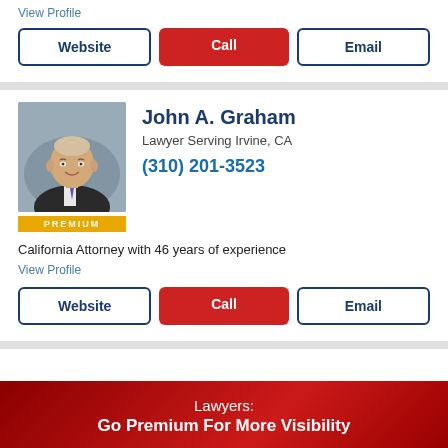View Profile
Website | Call | Email
John A. Graham
Lawyer Serving Irvine, CA
(310) 201-3523
[Figure (photo): Professional headshot of John A. Graham, a senior male attorney in a dark suit and tie, with a PREMIUM badge at the bottom of the photo.]
California Attorney with 46 years of experience
View Profile
Website | Call | Email
Lawyers:
Go Premium For More Visibility